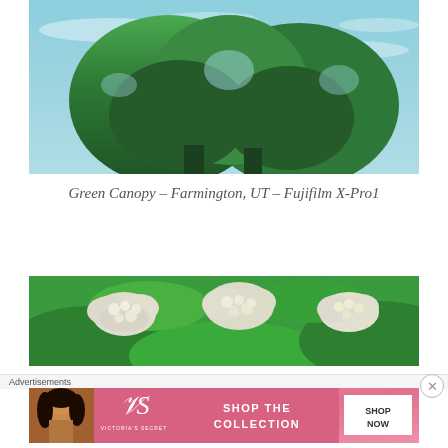[Figure (photo): Photograph of a large green tree canopy against a blue sky with wispy clouds, taken from below looking up. The tree has dense green foliage. Location: Farmington, UT.]
Green Canopy – Farmington, UT – Fujifilm X-Pro1
[Figure (photo): Close-up photograph of white/cream flowering clusters (possibly viburnum or spirea) with green leaves, taken with shallow depth of field.]
Advertisements
[Figure (photo): Victoria's Secret advertisement banner showing a model, the Victoria's Secret logo, text 'SHOP THE COLLECTION', and a 'SHOP NOW' button. Pink gradient background.]